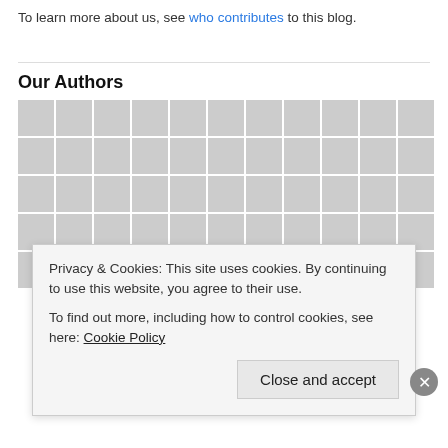To learn more about us, see who contributes to this blog.
Our Authors
[Figure (photo): Grid of author profile photos (5 rows x 11 columns) showing various author headshots and placeholder avatar images.]
Privacy & Cookies: This site uses cookies. By continuing to use this website, you agree to their use.
To find out more, including how to control cookies, see here: Cookie Policy